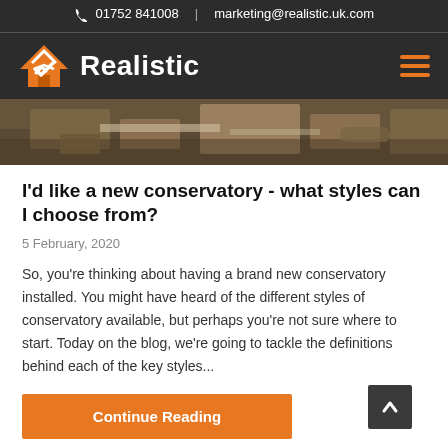01752 841008 | marketing@realistic.uk.com
[Figure (logo): Realistic logo with orange house icon and white text 'Realistic' on dark background]
[Figure (photo): Hero image showing a conservatory or garden patio area viewed from above]
I'd like a new conservatory - what styles can I choose from?
5 February, 2020
So, you're thinking about having a brand new conservatory installed. You might have heard of the different styles of conservatory available, but perhaps you're not sure where to start. Today on the blog, we're going to tackle the definitions behind each of the key styles...
Continue Reading